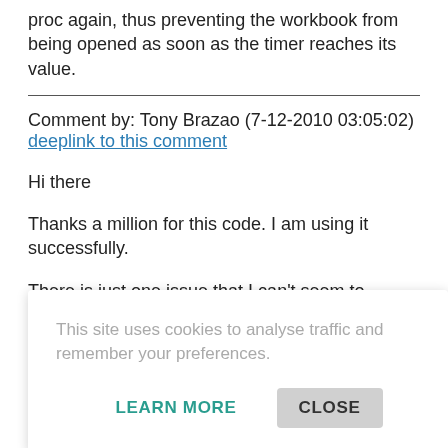proc again, thus preventing the workbook from being opened as soon as the timer reaches its value.
Comment by: Tony Brazao (7-12-2010 03:05:02)
deeplink to this comment
Hi there
Thanks a million for this code. I am using it successfully.
There is just one issue that I can't seem to resolve. I am unable to trap the Cells option on the Insert menu. On my sheet, I have disallowed inserting Columns but want to allow Insert Rows. This works well mostly but when you have a row highlighted, you can use the Insert/Cells [can't trap] [o work.] [:183,]
You help would be greatly appreciated.
Tony